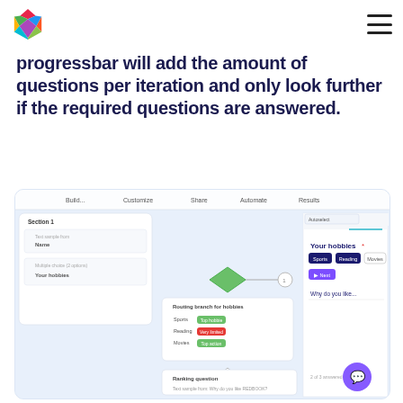[Logo] [Hamburger menu]
progressbar will add the amount of questions per iteration and only look further if the required questions are answered.
[Figure (screenshot): Screenshot of a survey/form builder application showing a branching logic interface with sections, multiple choice questions about hobbies (Sports, Reading, Movies), and a preview panel showing 'Your hobbies' question with Sports, Reading, Movies options and a Next button.]